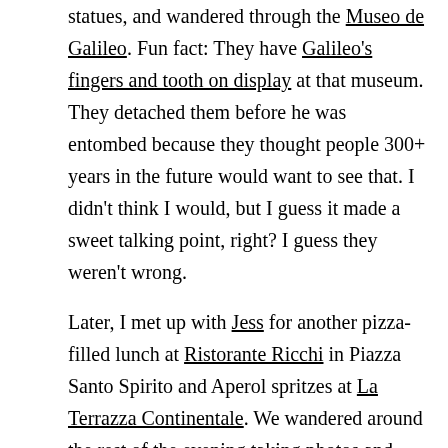statues, and wandered through the Museo de Galileo. Fun fact: They have Galileo's fingers and tooth on display at that museum. They detached them before he was entombed because they thought people 300+ years in the future would want to see that. I didn't think I would, but I guess it made a sweet talking point, right? I guess they weren't wrong.

Later, I met up with Jess for another pizza-filled lunch at Ristorante Ricchi in Piazza Santo Spirito and Aperol spritzes at La Terrazza Continentale. We wandered around the rest of the evening taking photos and visiting more markets.

If you keep scrolling, you can see some more shots of the cute courtyard at our Airbnb where we chilled and ate delicious panini's from a shop down the street. Also, I need to add that even Coca-cola tastes better in Italy. It's that real-real sugar and now coke here doesn't taste as good anymore. *first world problems*